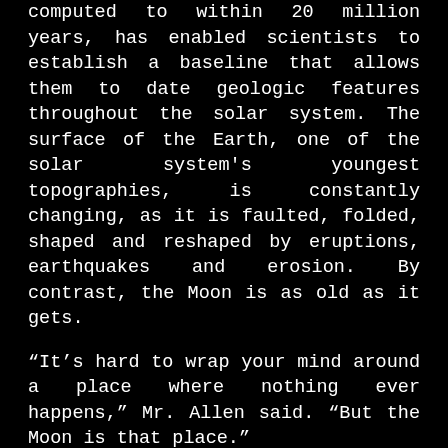computed to within 20 million years, has enabled scientists to establish a baseline that allows them to date geologic features throughout the solar system. The surface of the Earth, one of the solar system's youngest topographies, is constantly changing, as it is faulted, folded, shaped and reshaped by eruptions, earthquakes and erosion. By contrast, the Moon is as old as it gets.
“It’s hard to wrap your mind around a place where nothing ever happens,” Mr. Allen said. “But the Moon is that place.”
In recent years the rocks have also helped researchers to answer practical questions that have emerged since President Bush’s 2004 proposal to return to the Moon by 2020 and set up a permanent outpost. Planners are using the rocks to study the pernicious effects of regolith on machinery and astronaut health. They are learning how to extract oxygen and other vital elements from lunar rocks and soil. And they need to understand how to shield living spaces from the deadly radiation that eternally pounds the lunar surface.
There are about 2,200 of the moon rocks, but it is quite a fill...